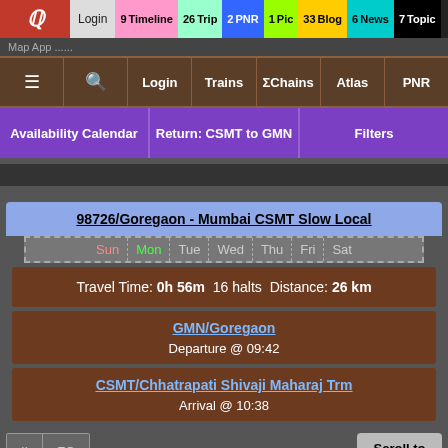9 Timeline | 26 Trip | 2 PNR | 1 Pic | 33 Blog | 6 News | 7 Topic
Login | Trains | ΣChains | Atlas | PNR
Availability Calendar | Return: CSMT to GMN | Filters
98726/Goregaon - Mumbai CSMT Slow Local
Sun Mon Tue Wed Thu Fri Sat
Travel Time: 0h 56m  16 halts  Distance: 26 km
GMN/Goregaon
Departure @ 09:42
CSMT/Chhatrapati Shivaji Maharaj Trm
Arrival @ 10:38
II | FC
Scroll to Top
WARNING: Time-Table may be outdated. Pl. double-che